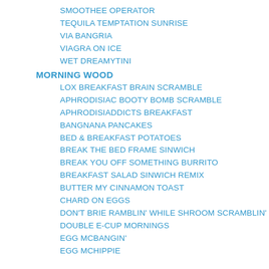SMOOTHEE OPERATOR
TEQUILA TEMPTATION SUNRISE
VIA BANGRIA
VIAGRA ON ICE
WET DREAMYTINI
MORNING WOOD
LOX BREAKFAST BRAIN SCRAMBLE
APHRODISIAC BOOTY BOMB SCRAMBLE
APHRODISIADDICTS BREAKFAST
BANGNANA PANCAKES
BED & BREAKFAST POTATOES
BREAK THE BED FRAME SINWICH
BREAK YOU OFF SOMETHING BURRITO
BREAKFAST SALAD SINWICH REMIX
BUTTER MY CINNAMON TOAST
CHARD ON EGGS
DON'T BRIE RAMBLIN' WHILE SHROOM SCRAMBLIN'
DOUBLE E-CUP MORNINGS
EGG MCBANGIN'
EGG MCHIPPIE